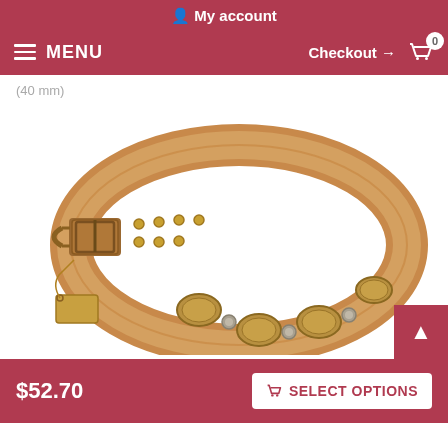My account
MENU  Checkout → 🛒 0
(40 mm)
[Figure (photo): Tan leather dog collar with brass oval medallions and flower studs, with an antique brass buckle, displayed in a ring shape with a price tag attached]
$52.70
SELECT OPTIONS